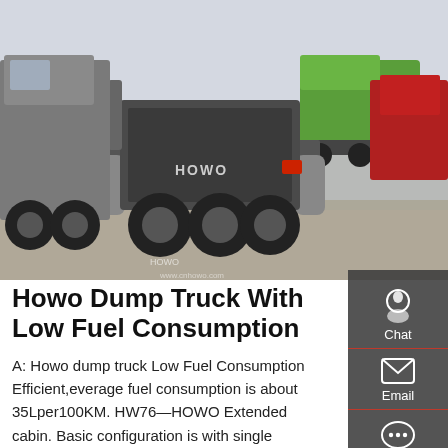[Figure (photo): Rear view of a HOWO dump truck in a truck yard, several other trucks visible in the background including a green truck. The HOWO branding is visible on the rear of the truck.]
Howo Dump Truck With Low Fuel Consumption
A: Howo dump truck Low Fuel Consumption Efficient,everage fuel consumption is about 35Lper100KM. HW76—HOWO Extended cabin. Basic configuration is with single sleeper; new type seat: adjustable steering wheel from up and down, front and rear ; new type integral warm air heater with European style; the German VDO instrument which synchronized